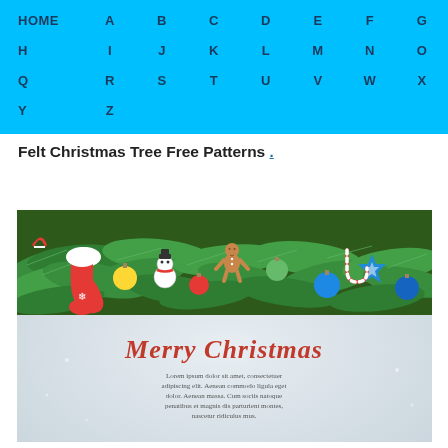HOME A B C D E F G H I J K L M N O P Q R S T U V W X Y Z
Felt Christmas Tree Free Patterns .
[Figure (illustration): A Christmas card illustration with green pine branches decorated with colorful ornaments, candy canes, a red stocking, snowman, gingerbread man, and blue star ornaments along the top. The lower portion is a light gray gradient background with 'Merry Christmas' in red script font and Lorem ipsum placeholder text below.]